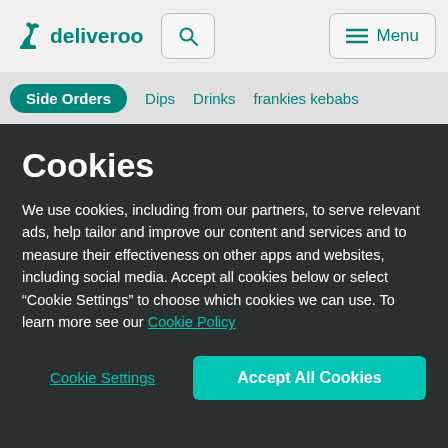[Figure (logo): Deliveroo kangaroo logo with text 'deliveroo' in teal]
deliveroo | Search | Menu
Side Orders  Dips  Drinks  frankies kebabs
Cookies
We use cookies, including from our partners, to serve relevant ads, help tailor and improve our content and services and to measure their effectiveness on other apps and websites, including social media. Accept all cookies below or select “Cookie Settings” to choose which cookies we can use. To learn more see our Cookie Policy
Cookie Settings  Accept All Cookies